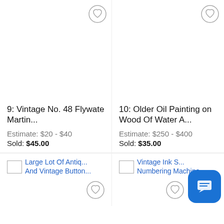[Figure (screenshot): Auction listing grid showing 4 items: two full listings with details and two partial listings at the bottom]
9: Vintage No. 48 Flywate Martin...
Estimate: $20 - $40
Sold: $45.00
10: Older Oil Painting on Wood Of Water A...
Estimate: $250 - $400
Sold: $35.00
Large Lot Of Antiq... And Vintage Button...
Vintage Ink S... Numbering Machine...